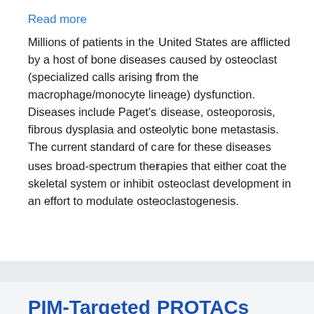Read more
Millions of patients in the United States are afflicted by a host of bone diseases caused by osteoclast (specialized calls arising from the macrophage/monocyte lineage) dysfunction. Diseases include Paget's disease, osteoporosis, fibrous dysplasia and osteolytic bone metastasis. The current standard of care for these diseases uses broad-spectrum therapies that either coat the skeletal system or inhibit osteoclast development in an effort to modulate osteoclastogenesis.
PIM-Targeted PROTACs